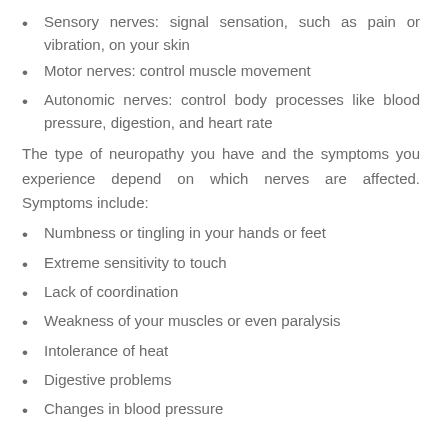Sensory nerves: signal sensation, such as pain or vibration, on your skin
Motor nerves: control muscle movement
Autonomic nerves: control body processes like blood pressure, digestion, and heart rate
The type of neuropathy you have and the symptoms you experience depend on which nerves are affected. Symptoms include:
Numbness or tingling in your hands or feet
Extreme sensitivity to touch
Lack of coordination
Weakness of your muscles or even paralysis
Intolerance of heat
Digestive problems
Changes in blood pressure